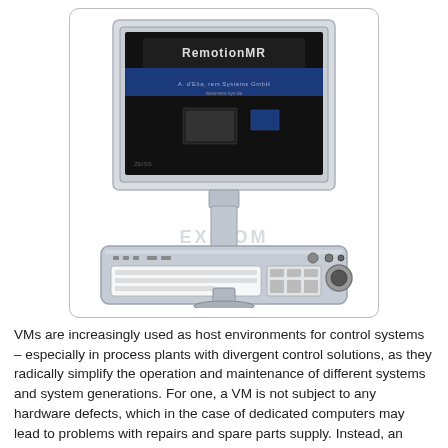[Figure (photo): A workstation computer terminal with a flat-panel monitor displaying a software splash screen (RemotionMR or similar), mounted on a stand with a specialized keyboard/control panel below. The monitor shows a dark screen with text and logos. A watermark 'EXICOM' is visible on the stand.]
VMs are increasingly used as host environments for control systems – especially in process plants with divergent control solutions, as they radically simplify the operation and maintenance of different systems and system generations. For one, a VM is not subject to any hardware defects, which in the case of dedicated computers may lead to problems with repairs and spare parts supply. Instead, an identically replicated system running in another VM can take over in the case of a fault. Secondly, IT capacities can be more fully exploited with virtualisation, instead of remaining underused in individual workstations.